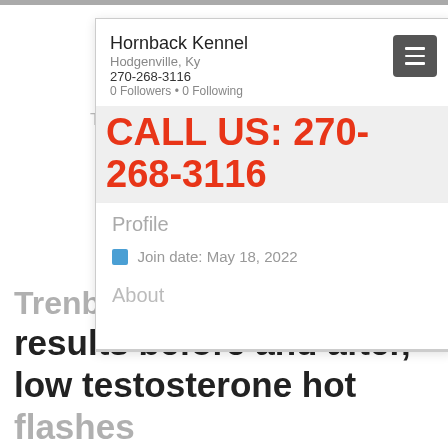[Figure (screenshot): Screenshot of a website profile card for Hornback Kennel, Hodgenville KY, with phone 270-268-3116, 0 Followers, 0 Following, showing Profile section with join date May 18, 2022 and About section. A red bold overlay reads CALL US: 270-268-3116. Behind the card, article text reads Trenbolone acetate results b... and at the bottom Trenbolone acetate results before and after, low testosterone hot flashes.]